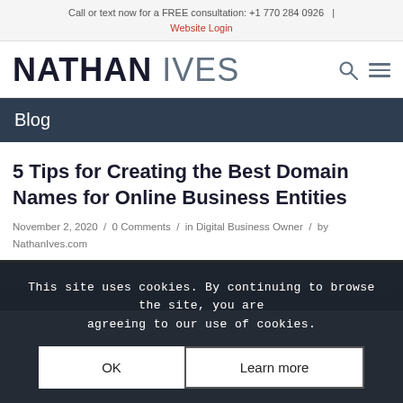Call or text now for a FREE consultation: +1 770 284 0926 | Website Login
NATHAN IVES
Blog
5 Tips for Creating the Best Domain Names for Online Business Entities
November 2, 2020 / 0 Comments / in Digital Business Owner / by NathanIves.com
This site uses cookies. By continuing to browse the site, you are agreeing to our use of cookies.